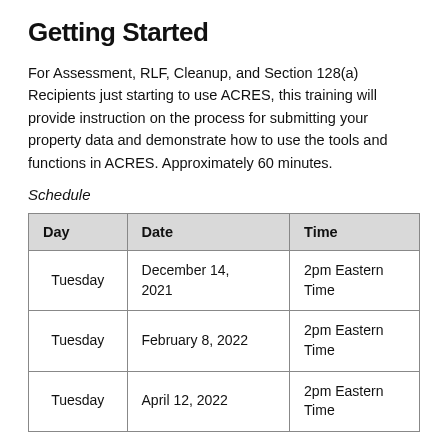Getting Started
For Assessment, RLF, Cleanup, and Section 128(a) Recipients just starting to use ACRES, this training will provide instruction on the process for submitting your property data and demonstrate how to use the tools and functions in ACRES. Approximately 60 minutes.
Schedule
| Day | Date | Time |
| --- | --- | --- |
| Tuesday | December 14, 2021 | 2pm Eastern Time |
| Tuesday | February 8, 2022 | 2pm Eastern Time |
| Tuesday | April 12, 2022 | 2pm Eastern Time |